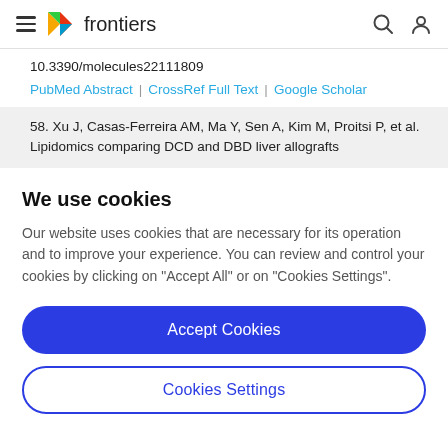frontiers
10.3390/molecules22111809
PubMed Abstract | CrossRef Full Text | Google Scholar
58. Xu J, Casas-Ferreira AM, Ma Y, Sen A, Kim M, Proitsi P, et al. Lipidomics comparing DCD and DBD liver allografts
We use cookies
Our website uses cookies that are necessary for its operation and to improve your experience. You can review and control your cookies by clicking on "Accept All" or on "Cookies Settings".
Accept Cookies
Cookies Settings